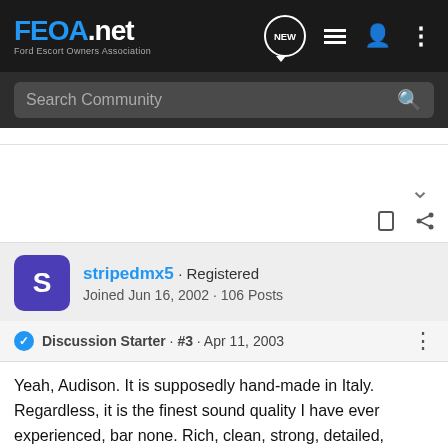FEOA.net Ford Escort Owners Association
Search Community
stripedmx5 · Registered
Joined Jun 16, 2002 · 106 Posts
Discussion Starter · #3 · Apr 11, 2003
Yeah, Audison. It is supposedly hand-made in Italy. Regardless, it is the finest sound quality I have ever experienced, bar none. Rich, clean, strong, detailed, everything I want in sound equipement, but the price. The 4-channel that I would like is a